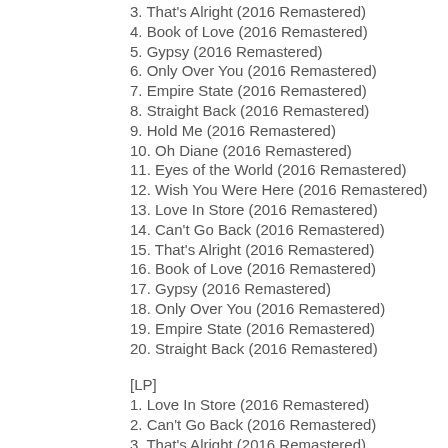3. That's Alright (2016 Remastered)
4. Book of Love (2016 Remastered)
5. Gypsy (2016 Remastered)
6. Only Over You (2016 Remastered)
7. Empire State (2016 Remastered)
8. Straight Back (2016 Remastered)
9. Hold Me (2016 Remastered)
10. Oh Diane (2016 Remastered)
11. Eyes of the World (2016 Remastered)
12. Wish You Were Here (2016 Remastered)
13. Love In Store (2016 Remastered)
14. Can't Go Back (2016 Remastered)
15. That's Alright (2016 Remastered)
16. Book of Love (2016 Remastered)
17. Gypsy (2016 Remastered)
18. Only Over You (2016 Remastered)
19. Empire State (2016 Remastered)
20. Straight Back (2016 Remastered)
[LP]
1. Love In Store (2016 Remastered)
2. Can't Go Back (2016 Remastered)
3. That's Alright (2016 Remastered)